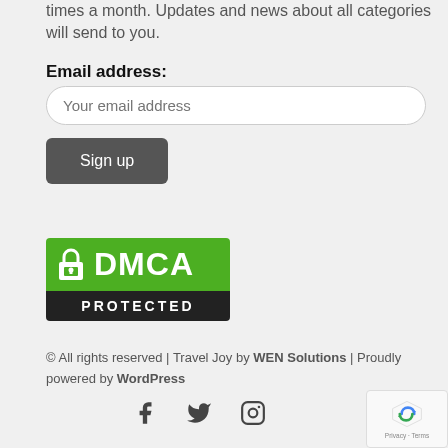times a month. Updates and news about all categories will send to you.
Email address:
Your email address
Sign up
[Figure (logo): DMCA Protected badge with green top section showing a padlock icon and 'DMCA' text, and black bottom section with 'PROTECTED' text]
© All rights reserved | Travel Joy by WEN Solutions | Proudly powered by WordPress
[Figure (other): Social media icons: Facebook, Twitter, Instagram]